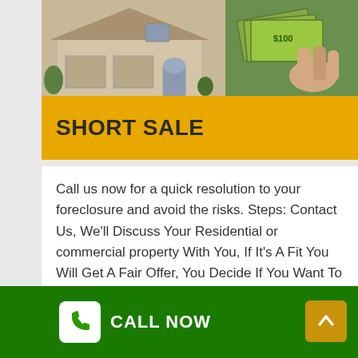[Figure (photo): Top banner image showing a residential house on the left and a person holding cash/dollar bills on the right, with green and golden-brown tones]
SHORT SALE
Call us now for a quick resolution to your foreclosure and avoid the risks. Steps: Contact Us, We'll Discuss Your Residential or commercial property With You, If It's A Fit You Will Get A Fair Offer, You Decide If You Want To Sell Your Home, We Close On The Date That You Pick.
CALL NOW